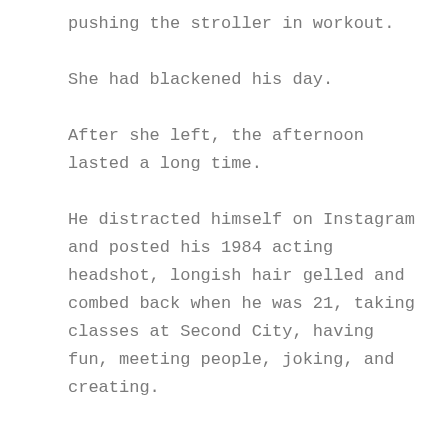pushing the stroller in workout.
She had blackened his day.
After she left, the afternoon lasted a long time.
He distracted himself on Instagram and posted his 1984 acting headshot, longish hair gelled and combed back when he was 21, taking classes at Second City, having fun, meeting people, joking, and creating.